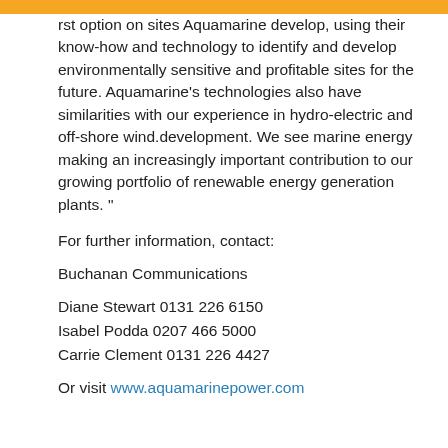rst option on sites Aquamarine develop, using their know-how and technology to identify and develop environmentally sensitive and profitable sites for the future. Aquamarine's technologies also have similarities with our experience in hydro-electric and off-shore wind.development. We see marine energy making an increasingly important contribution to our growing portfolio of renewable energy generation plants. ”
For further information, contact:
Buchanan Communications
Diane Stewart 0131 226 6150
Isabel Podda 0207 466 5000
Carrie Clement 0131 226 4427
Or visit www.aquamarinepower.com